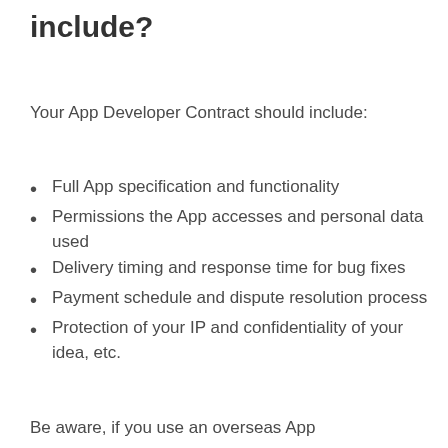include?
Your App Developer Contract should include:
Full App specification and functionality
Permissions the App accesses and personal data used
Delivery timing and response time for bug fixes
Payment schedule and dispute resolution process
Protection of your IP and confidentiality of your idea, etc.
Be aware, if you use an overseas App